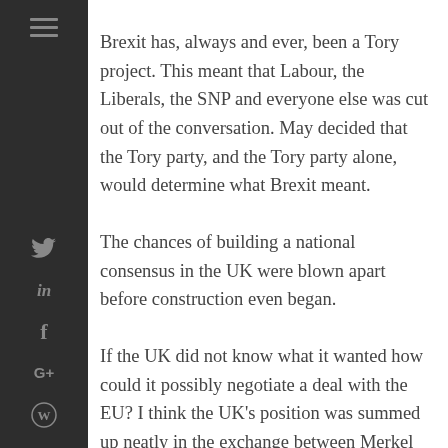Brexit has, always and ever, been a Tory project. This meant that Labour, the Liberals, the SNP and everyone else was cut out of the conversation. May decided that the Tory party, and the Tory party alone, would determine what Brexit meant.
The chances of building a national consensus in the UK were blown apart before construction even began.
If the UK did not know what it wanted how could it possibly negotiate a deal with the EU? I think the UK's position was summed up neatly in the exchange between Merkel and May. Merkel asked May what she wanted. May replied, make me an offer. Merkel responded by telling May that it was